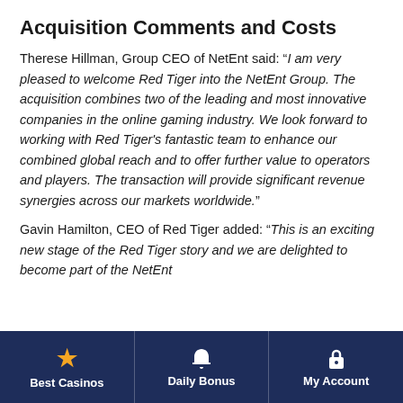Acquisition Comments and Costs
Therese Hillman, Group CEO of NetEnt said: "I am very pleased to welcome Red Tiger into the NetEnt Group. The acquisition combines two of the leading and most innovative companies in the online gaming industry. We look forward to working with Red Tiger's fantastic team to enhance our combined global reach and to offer further value to operators and players. The transaction will provide significant revenue synergies across our markets worldwide."
Gavin Hamilton, CEO of Red Tiger added: “This is an exciting new stage of the Red Tiger story and we are delighted to become part of the NetEnt
Best Casinos | Daily Bonus | My Account